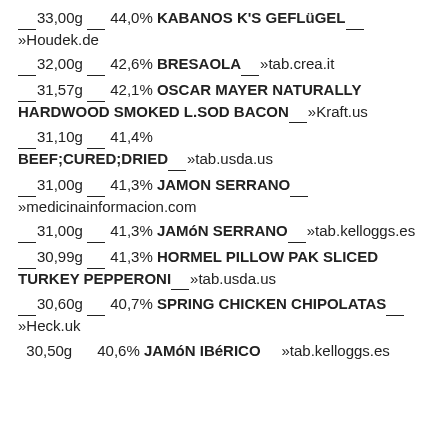__33,00g __ 44,0% KABANOS K'S GEFLüGEL___»Houdek.de
__32,00g __ 42,6% BRESAOLA___»tab.crea.it
__31,57g __ 42,1% OSCAR MAYER NATURALLY HARDWOOD SMOKED L.SOD BACON___»Kraft.us
__31,10g __ 41,4% BEEF;CURED;DRIED___»tab.usda.us
__31,00g __ 41,3% JAMON SERRANO___»medicinainformacion.com
__31,00g __ 41,3% JAMóN SERRANO___»tab.kelloggs.es
__30,99g __ 41,3% HORMEL PILLOW PAK SLICED TURKEY PEPPERONI___»tab.usda.us
__30,60g __ 40,7% SPRING CHICKEN CHIPOLATAS___»Heck.uk
30,50g    40,6% JAMóN IBéRICO    »tab.kelloggs.es